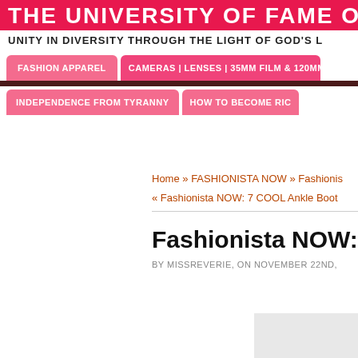THE UNIVERSITY OF FAME ONLINE
UNITY IN DIVERSITY THROUGH THE LIGHT OF GOD'S L
FASHION APPAREL
CAMERAS | LENSES | 35MM FILM & 120MM FILM
INDEPENDENCE FROM TYRANNY
HOW TO BECOME RIC
Home » FASHIONISTA NOW » Fashionis
« Fashionista NOW: 7 COOL Ankle Boot
Fashionista NOW: 10 M
BY MISSREVERIE, ON NOVEMBER 22ND,